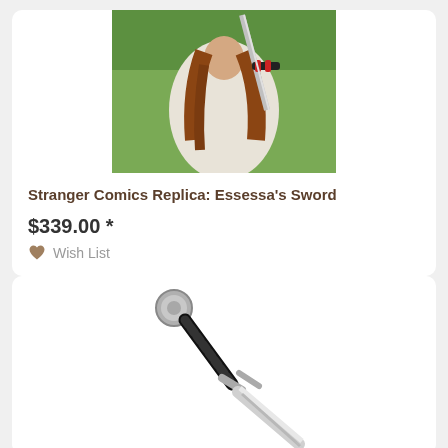[Figure (photo): Woman with long red-brown hair wearing a white cloak, holding a decorative fantasy sword with a red and black ornate crossguard, standing outdoors with green foliage in background]
Stranger Comics Replica: Essessa's Sword
$339.00 *
Wish List
[Figure (photo): A medieval-style sword with a round silver pommel, black wrapped grip, and a silver crossguard with extended quillons, shown diagonally against a white background]